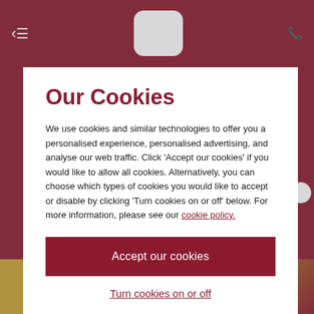[Figure (screenshot): Dark red website background visible behind cookie consent modal, showing navigation icons and a Christmas-themed image at the bottom]
Our Cookies
We use cookies and similar technologies to offer you a personalised experience, personalised advertising, and analyse our web traffic. Click 'Accept our cookies' if you would like to allow all cookies. Alternatively, you can choose which types of cookies you would like to accept or disable by clicking 'Turn cookies on or off' below. For more information, please see our cookie policy.
Accept our cookies
Turn cookies on or off